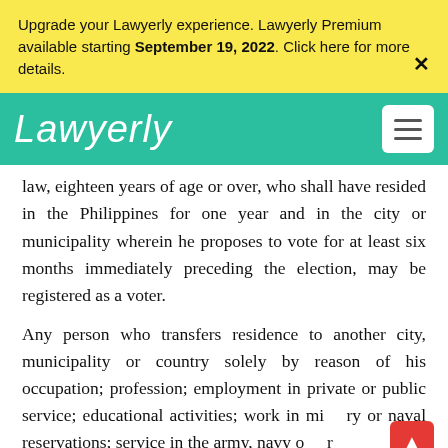Upgrade your Lawyerly experience. Lawyerly Premium available starting September 19, 2022. Click here for more details.
Lawyerly
law, eighteen years of age or over, who shall have resided in the Philippines for one year and in the city or municipality wherein he proposes to vote for at least six months immediately preceding the election, may be registered as a voter.
Any person who transfers residence to another city, municipality or country solely by reason of his occupation; profession; employment in private or public service; educational activities; work in military or naval reservations; service in the army, navy or air force on the coast guard; pension; boarding of a